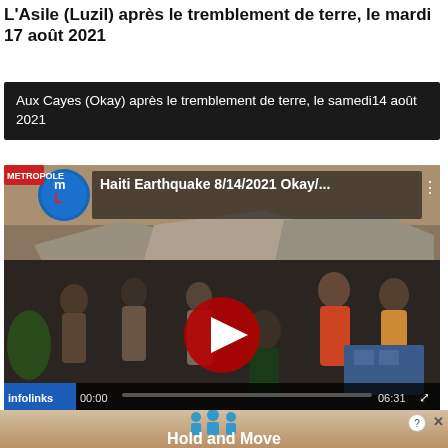L'Asile (Luzil) après le tremblement de terre, le mardi 17 août 2021
Aux Cayes (Okay) après le tremblement de terre, le samedi14 août 2021
[Figure (screenshot): YouTube video thumbnail showing Haiti Earthquake 8/14/2021 Okay/... with people at earthquake rubble, red play button in center, infolinks bar at bottom showing 00:00 and 06:31 timecodes]
[Figure (photo): Advertisement banner: Hold and Move app ad with blue figure icons on a beige/tan background]